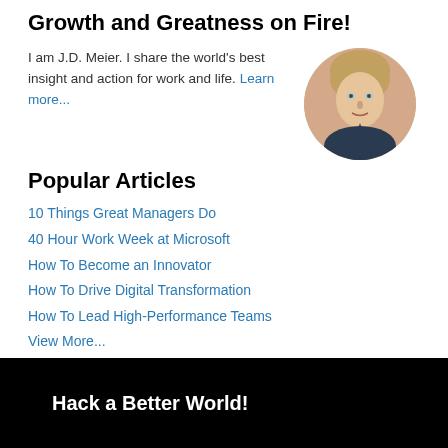Growth and Greatness on Fire!
I am J.D. Meier. I share the world's best insight and action for work and life. Learn more...
[Figure (photo): Circular headshot photo of J.D. Meier, a man with short blond hair wearing a dark jacket, against a white background.]
Popular Articles
10 Things Great Managers Do
40 Hour Work Week at Microsoft
How To Become an Innovator
How To Drive Digital Transformation
How To Lead High-Performance Teams
View More...
Hack a Better World!